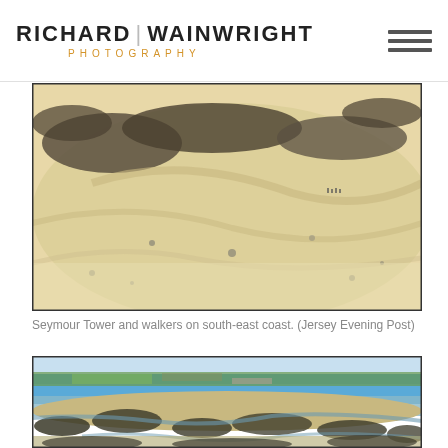RICHARD | WAINWRIGHT PHOTOGRAPHY
[Figure (photo): Aerial photograph of Seymour Tower area showing sandy beach with dark rocky outcrops and tidal patterns, south-east coast of Jersey]
Seymour Tower and walkers on south-east coast. (Jersey Evening Post)
[Figure (photo): Aerial photograph showing coastal landscape with blue sea, distant town/harbour, sandy tidal flats and dark rocky reef exposed at low tide, Jersey coast]